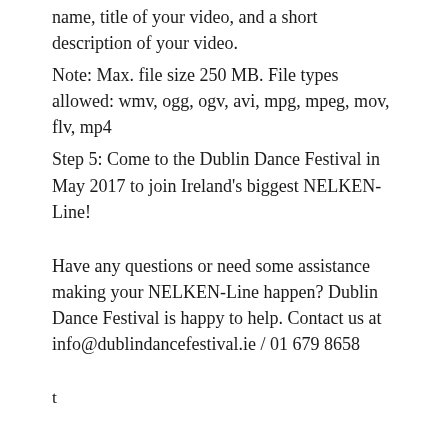name, title of your video, and a short description of your video.
Note: Max. file size 250 MB. File types allowed: wmv, ogg, ogv, avi, mpg, mpeg, mov, flv, mp4
Step 5: Come to the Dublin Dance Festival in May 2017 to join Ireland’s biggest NELKEN-Line!
Have any questions or need some assistance making your NELKEN-Line happen? Dublin Dance Festival is happy to help. Contact us at info@dublindancefestival.ie / 01 679 8658
t